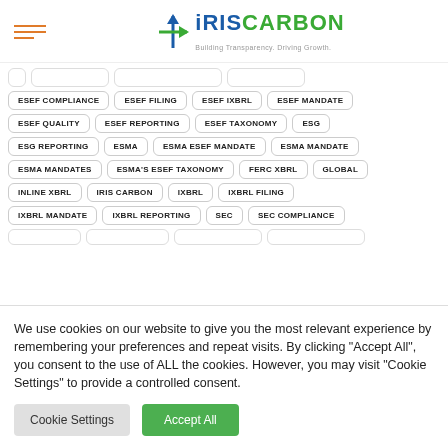[Figure (logo): IRIS CARBON logo with tagline 'Building Transparency. Driving Growth.' and a cross/arrow icon]
ESEF COMPLIANCE
ESEF FILING
ESEF IXBRL
ESEF MANDATE
ESEF QUALITY
ESEF REPORTING
ESEF TAXONOMY
ESG
ESG REPORTING
ESMA
ESMA ESEF MANDATE
ESMA MANDATE
ESMA MANDATES
ESMA'S ESEF TAXONOMY
FERC XBRL
GLOBAL
INLINE XBRL
IRIS CARBON
IXBRL
IXBRL FILING
IXBRL MANDATE
IXBRL REPORTING
SEC
SEC COMPLIANCE
We use cookies on our website to give you the most relevant experience by remembering your preferences and repeat visits. By clicking “Accept All”, you consent to the use of ALL the cookies. However, you may visit "Cookie Settings" to provide a controlled consent.
Cookie Settings
Accept All